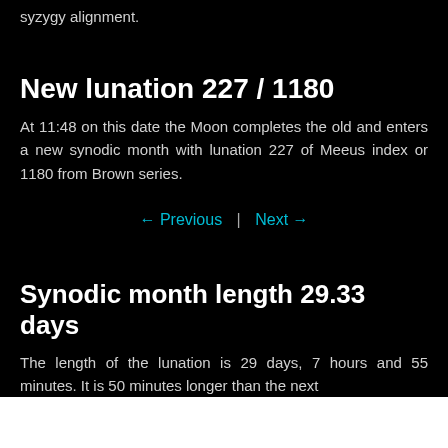syzygy alignment.
New lunation 227 / 1180
At 11:48 on this date the Moon completes the old and enters a new synodic month with lunation 227 of Meeus index or 1180 from Brown series.
← Previous  |  Next →
Synodic month length 29.33 days
The length of the lunation is 29 days, 7 hours and 55 minutes. It is 50 minutes longer than the next